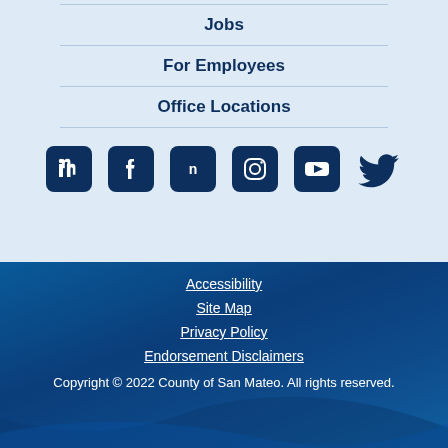Jobs
For Employees
Office Locations
[Figure (infographic): Row of social media icons: LinkedIn, Facebook, Nextdoor, Instagram, YouTube, Twitter]
Accessibility
Site Map
Privacy Policy
Endorsement Disclaimers
Copyright © 2022 County of San Mateo. All rights reserved.